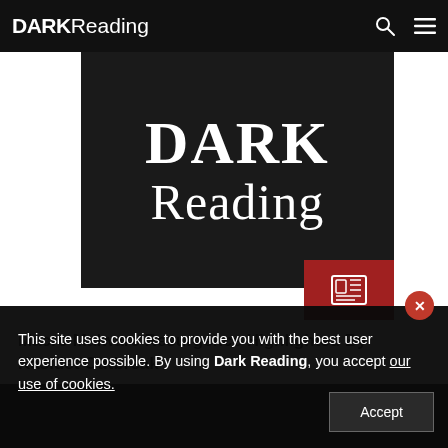DARK Reading
[Figure (logo): Dark Reading logo on black background with red accent square and newspaper icon]
Macro Malware Resurgence Highlighted By Kasidet Outbreak
This site uses cookies to provide you with the best user experience possible. By using Dark Reading, you accept our use of cookies.